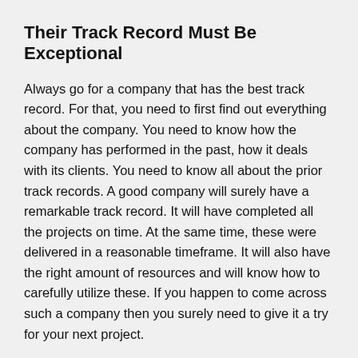Their Track Record Must Be Exceptional
Always go for a company that has the best track record. For that, you need to first find out everything about the company. You need to know how the company has performed in the past, how it deals with its clients. You need to know all about the prior track records. A good company will surely have a remarkable track record. It will have completed all the projects on time. At the same time, these were delivered in a reasonable timeframe. It will also have the right amount of resources and will know how to carefully utilize these. If you happen to come across such a company then you surely need to give it a try for your next project.
Company Needs To Acquire a Huge Amount of Packaging Resources